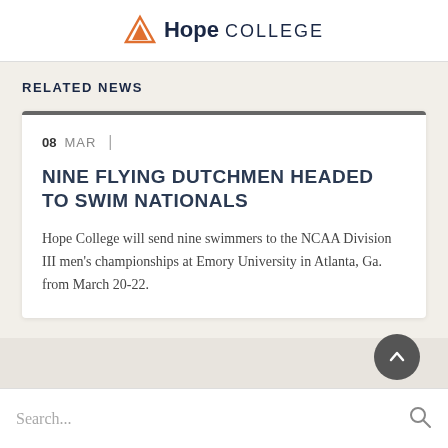Hope College
RELATED NEWS
08 MAR
NINE FLYING DUTCHMEN HEADED TO SWIM NATIONALS
Hope College will send nine swimmers to the NCAA Division III men's championships at Emory University in Atlanta, Ga. from March 20-22.